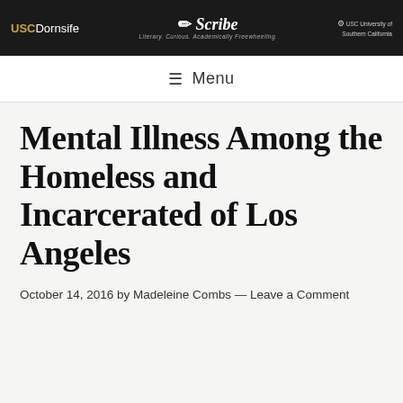USC Dornsife | Scribe | USC University of Southern California
Menu
Mental Illness Among the Homeless and Incarcerated of Los Angeles
October 14, 2016 by Madeleine Combs — Leave a Comment